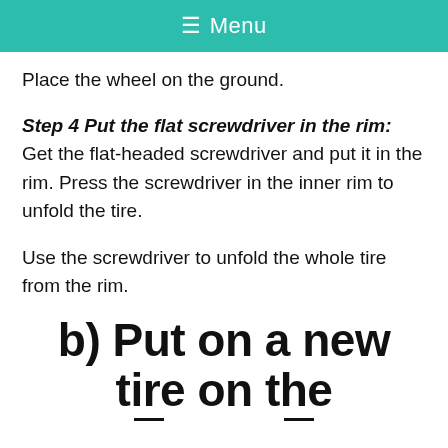☰ Menu
Place the wheel on the ground.
Step 4 Put the flat screwdriver in the rim: Get the flat-headed screwdriver and put it in the rim. Press the screwdriver in the inner rim to unfold the tire.
Use the screwdriver to unfold the whole tire from the rim.
b) Put on a new tire on the